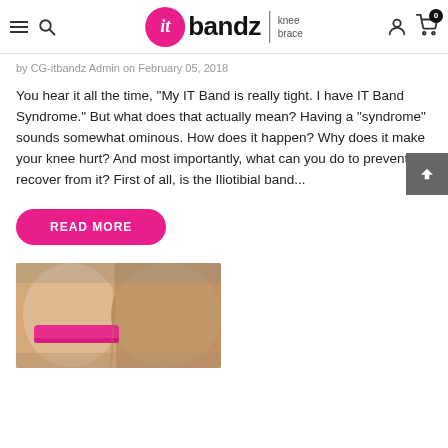it bandz | knee brace
by CG-itbandz Admin on February 05, 2018
You hear it all the time, "My IT Band is really tight. I have IT Band Syndrome." But what does that actually mean? Having a "syndrome" sounds somewhat ominous. How does it happen? Why does it make your knee hurt? And most importantly, what can you do to prevent or recover from it? First of all, is the Iliotibial band...
READ MORE
[Figure (photo): Close-up photo of a person's knee/leg area wearing a pink IT bandz knee brace strap]